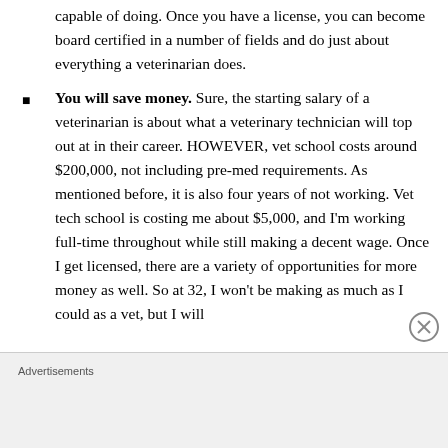capable of doing. Once you have a license, you can become board certified in a number of fields and do just about everything a veterinarian does.
You will save money. Sure, the starting salary of a veterinarian is about what a veterinary technician will top out at in their career. HOWEVER, vet school costs around $200,000, not including pre-med requirements. As mentioned before, it is also four years of not working. Vet tech school is costing me about $5,000, and I'm working full-time throughout while still making a decent wage. Once I get licensed, there are a variety of opportunities for more money as well. So at 32, I won't be making as much as I could as a vet, but I will
Advertisements